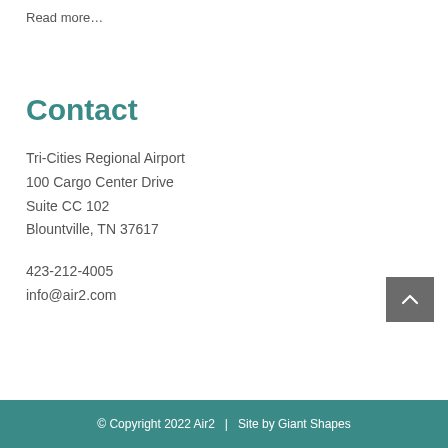Read more…
Contact
Tri-Cities Regional Airport
100 Cargo Center Drive
Suite CC 102
Blountville, TN 37617
423-212-4005
info@air2.com
© Copyright 2022 Air2   |   Site by Giant Shapes